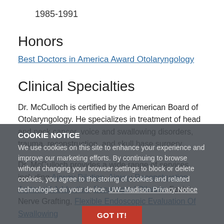1985-1991
Honors
Best Doctors in America Award Otolaryngology
Clinical Specialties
Dr. McCulloch is certified by the American Board of Otolaryngology. He specializes in treatment of head and neck cancer, voice and swallowing disorders, trauma, reconstruction, and skull base surgery.
COOKIE NOTICE
We use cookies on this site to enhance your experience and improve our marketing efforts. By continuing to browse without changing your browser settings to block or delete cookies, you agree to the storing of cookies and related technologies on your device. UW–Madison Privacy Notice
Dr. McCulloch provides a wide range of services including Airway Dilation, Airway Reconstruction, Arytenoid Adduction, Esophageal Dilation, Facial Nerve Grafting, Flexible Endoscopic Evaluation Of Swallowing